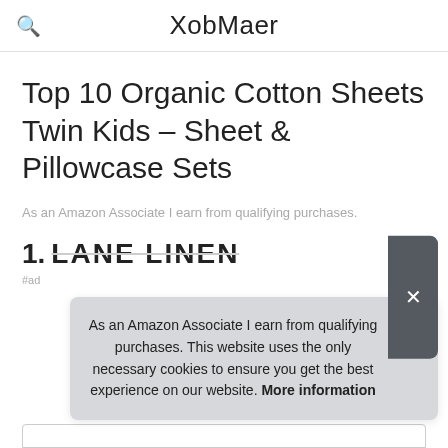XobMaer
Top 10 Organic Cotton Sheets Twin Kids – Sheet & Pillowcase Sets
As an Amazon Associate I earn from qualifying purchases.
1. LANE LINEN
#ad
As an Amazon Associate I earn from qualifying purchases. This website uses the only necessary cookies to ensure you get the best experience on our website. More information